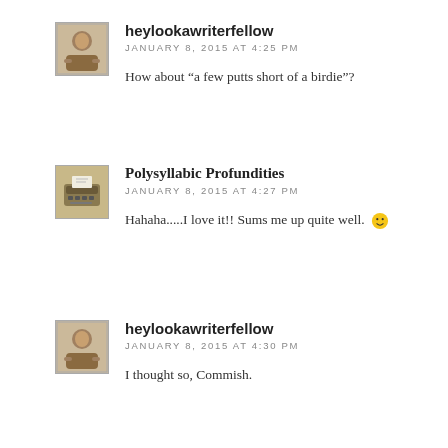heylookawriterfellow
JANUARY 8, 2015 AT 4:25 PM
How about “a few putts short of a birdie”?
Polysyllabic Profundities
JANUARY 8, 2015 AT 4:27 PM
Hahaha.....I love it!! Sums me up quite well. 🙂
heylookawriterfellow
JANUARY 8, 2015 AT 4:30 PM
I thought so, Commish.